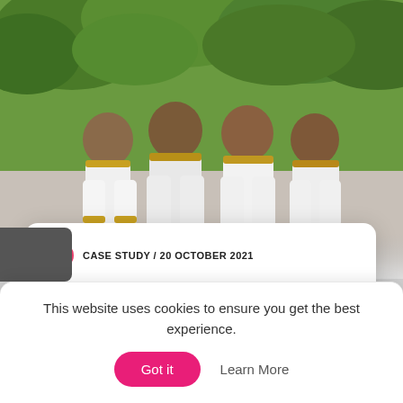[Figure (photo): Photo of people in white traditional clothing with gold/orange trim sitting together, with green foliage in the background.]
CASE STUDY / 20 OCTOBER 2021
Mahmoud's journey to freedom
How we helped a Somali professor persecuted for blasphemy and apostasy to reach safety.
READ MORE
This website uses cookies to ensure you get the best experience.
Got it
Learn More